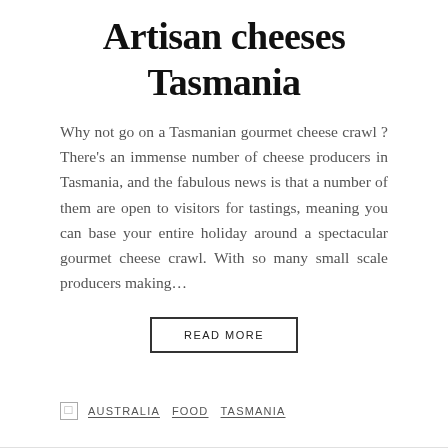Artisan cheeses Tasmania
Why not go on a Tasmanian gourmet cheese crawl ? There’s an immense number of cheese producers in Tasmania, and the fabulous news is that a number of them are open to visitors for tastings, meaning you can base your entire holiday around a spectacular gourmet cheese crawl. With so many small scale producers making…
READ MORE
□ AUSTRALIA   FOOD   TASMANIA